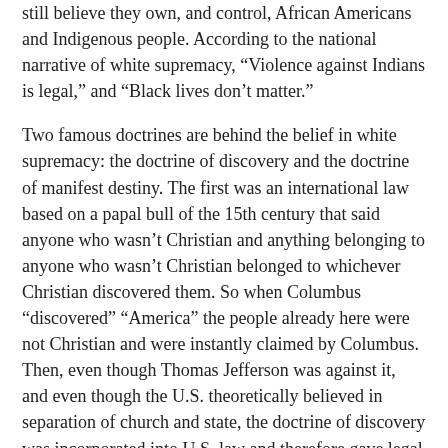still believe they own, and control, African Americans and Indigenous people. According to the national narrative of white supremacy, "Violence against Indians is legal," and "Black lives don't matter."
Two famous doctrines are behind the belief in white supremacy: the doctrine of discovery and the doctrine of manifest destiny. The first was an international law based on a papal bull of the 15th century that said anyone who wasn't Christian and anything belonging to anyone who wasn't Christian belonged to whichever Christian discovered them. So when Columbus "discovered" "America" the people already here were not Christian and were instantly claimed by Columbus. Then, even though Thomas Jefferson was against it, and even though the U.S. theoretically believed in separation of church and state, the doctrine of discovery was incorporated into U.S. law and therefore gave legal justification for the breaking of all treaties established with indigenous people—because they weren't Christian.
The second doctrine was manifest destiny, a more complicated concept and more disputed. Generally it held that American democracy (created by white men) was exceptional and should be